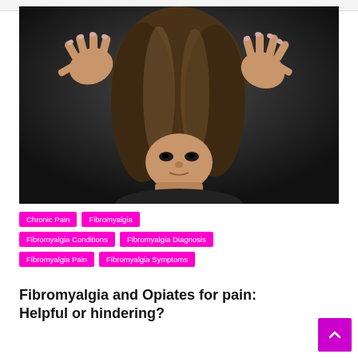[Figure (photo): An upside-down woman with hands raised near her head, dark background, dramatic lighting — illustrating fibromyalgia pain or distress]
Chronic Pain
Fibromyalgia
Fibromyalgia Conditions
Fibromyalgia Diagnosis
Fibromyalgia Pain
Fibromyalgia Symptoms
Fibromyalgia and Opiates for pain: Helpful or hindering?